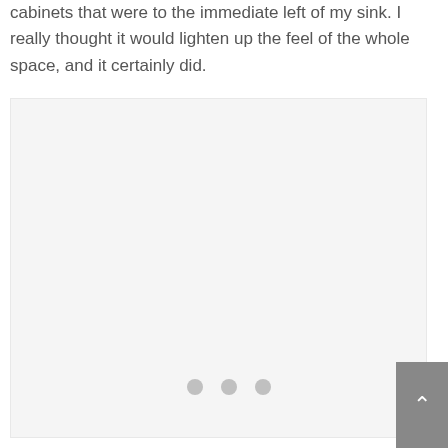cabinets that were to the immediate left of my sink. I really thought it would lighten up the feel of the whole space, and it certainly did.
[Figure (photo): Loading placeholder with three dots indicating an image is loading, light gray background]
[Figure (other): Back to top button with upward chevron arrow, gray background, positioned at bottom right]